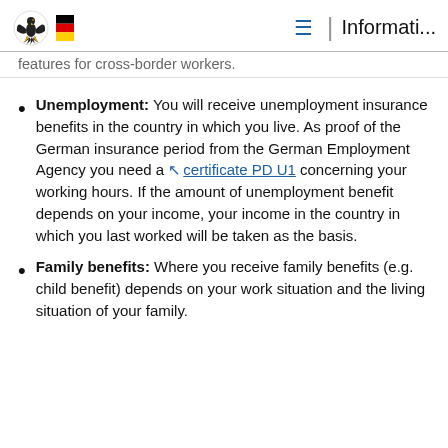Informati...
features for cross-border workers.
Unemployment: You will receive unemployment insurance benefits in the country in which you live. As proof of the German insurance period from the German Employment Agency you need a certificate PD U1 concerning your working hours. If the amount of unemployment benefit depends on your income, your income in the country in which you last worked will be taken as the basis.
Family benefits: Where you receive family benefits (e.g. child benefit) depends on your work situation and the living situation of your family.